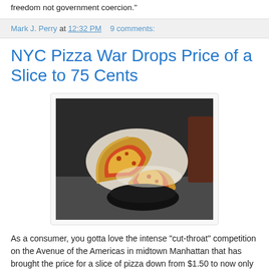freedom not government coercion."
Mark J. Perry at 12:32 PM   9 comments:
NYC Pizza War Drops Price of a Slice to 75 Cents
[Figure (photo): A hand holding two large New York-style pizza slices on a paper plate in a dark restaurant setting.]
As a consumer, you gotta love the intense "cut-throat" competition on the Avenue of the Americas in midtown Manhattan that has brought the price for a slice of pizza down from $1.50 to now only